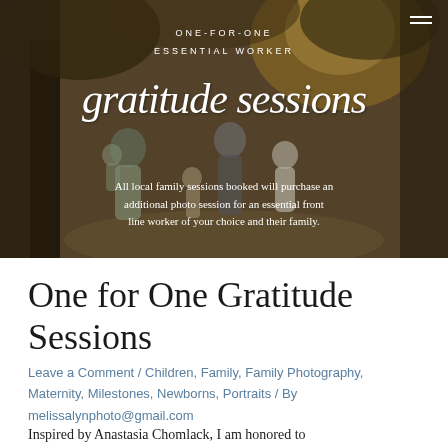[Figure (photo): A family walking outdoors in golden light. Text overlay reads: ONE-FOR-ONE / ESSENTIAL WORKER / gratitude sessions / All local family sessions booked will purchase an additional photo session for an essential front line worker of your choice and their family.]
One for One Gratitude Sessions
Leave a Comment / Children, Family, Family Photography, Maternity, Milestones, Newborns, Portraits / By melissalynphoto@gmail.com
Inspired by Anastasia Chomlack, I am honored to